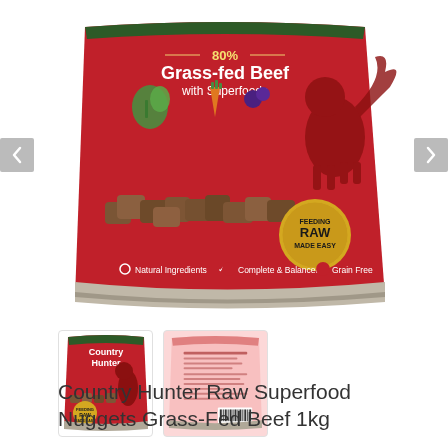[Figure (photo): Main product image: Country Hunter Raw Superfood Nuggets Grass-Fed Beef 1kg red packaging, showing 80% Grass-fed Beef with Superfoods text, raw meat nuggets, and FEEDING RAW MADE EASY badge, with navigation arrows on left and right]
[Figure (photo): Thumbnail 1: Front of Country Hunter Raw Superfood Nuggets Grass-Fed Beef 1kg package (red and green)]
[Figure (photo): Thumbnail 2: Back of Country Hunter Raw Superfood Nuggets Grass-Fed Beef 1kg package (pink/light)]
Country Hunter Raw Superfood Nuggets Grass-Fed Beef 1kg